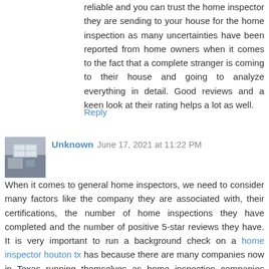reliable and you can trust the home inspector they are sending to your house for the home inspection as many uncertainties have been reported from home owners when it comes to the fact that a complete stranger is coming to their house and going to analyze everything in detail. Good reviews and a keen look at their rating helps a lot as well.
Reply
Unknown  June 17, 2021 at 11:22 PM
When it comes to general home inspectors, we need to consider many factors like the company they are associated with, their certifications, the number of home inspections they have completed and the number of positive 5-star reviews they have. It is very important to run a background check on a home inspector houton tx has because there are many companies now in Texas running themselves as home inspection companies consisting of one or more people. With such a huge saturation in the market it is important to know what specifications pool and spa inspections houston should have in order to provide you a good result of a thorough home inspection. We highly